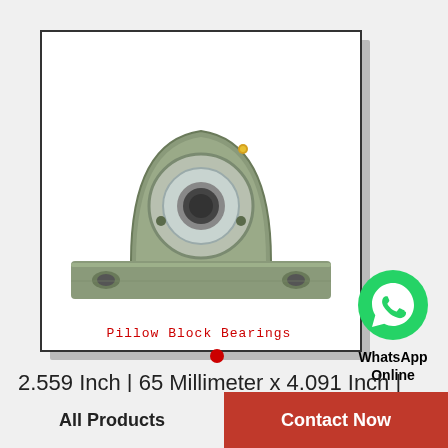[Figure (photo): Pillow block bearing (UCP/UCF type) with cast iron housing and inner ring, shown on white background inside a bordered product image box]
Pillow Block Bearings
2.559 Inch | 65 Millimeter x 4.091 Inch | 103.9 Millimeter x 3 Inch | 76.2 Millimeter QM…
All Products
Contact Now